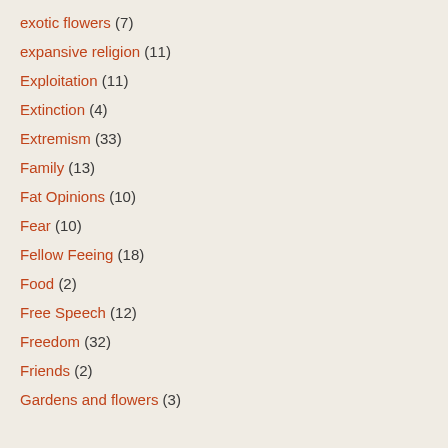exotic flowers (7)
expansive religion (11)
Exploitation (11)
Extinction (4)
Extremism (33)
Family (13)
Fat Opinions (10)
Fear (10)
Fellow Feeing (18)
Food (2)
Free Speech (12)
Freedom (32)
Friends (2)
Gardens and flowers (3)